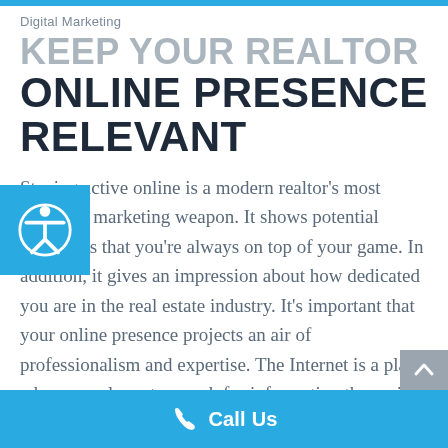Digital Marketing
KEEP YOUR REALTOR ONLINE PRESENCE RELEVANT
Staying active online is a modern realtor's most powerful marketing weapon. It shows potential customers that you're always on top of your game.  In addition, it gives an impression about how dedicated you are in the real estate industry.  It's important that your online presence projects an air of professionalism and expertise.  The Internet is a place where people go to search for information they might need. Therefore as a realtor in this digital age, it's
Call Us